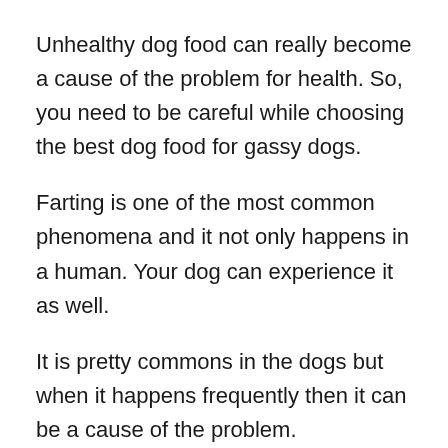Unhealthy dog food can really become a cause of the problem for health. So, you need to be careful while choosing the best dog food for gassy dogs.
Farting is one of the most common phenomena and it not only happens in a human. Your dog can experience it as well.
It is pretty commons in the dogs but when it happens frequently then it can be a cause of the problem.
Its unpleasant smell can destroy the environment of your home and you may also start to feel uncomfortable.
Moreover, it indicates the poor health of your pet.